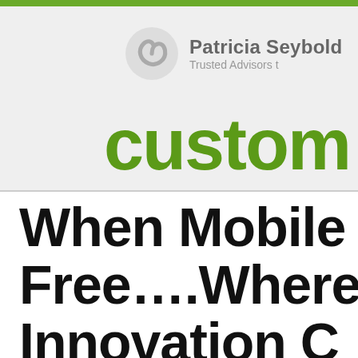Patricia Seybold Trusted Advisors t...
custom
When Mobile Free….Where Innovation C…